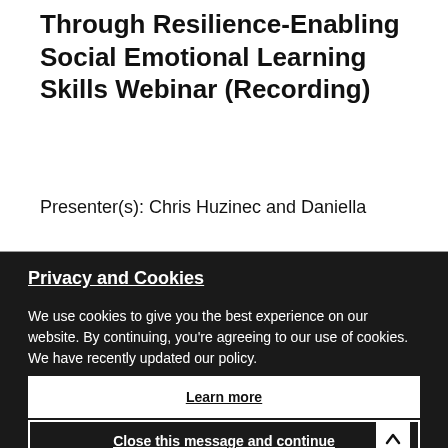Through Resilience-Enabling Social Emotional Learning Skills Webinar (Recording)
Presenter(s): Chris Huzinec and Daniella
Privacy and Cookies
We use cookies to give you the best experience on our website. By continuing, you're agreeing to our use of cookies. We have recently updated our policy.
Learn more
Close this message and continue